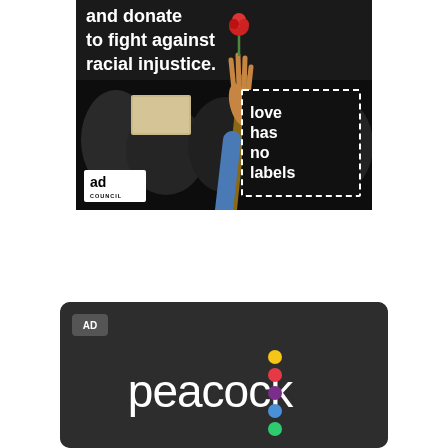[Figure (photo): Ad Council 'Love Has No Labels' advertisement showing protesters with raised hands and a flower, with bold white text reading 'and donate to fight against racial injustice.' and a dashed-border box with text 'love has no labels' and ad council logo.]
[Figure (logo): Peacock streaming service advertisement on dark charcoal background, showing 'AD' badge in top left corner and 'peacock' logo with colorful dots in rainbow colors (yellow, red, purple, blue, green).]